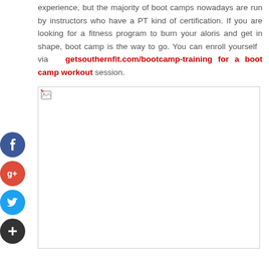experience, but the majority of boot camps nowadays are run by instructors who have a PT kind of certification. If you are looking for a fitness program to burn your aloris and get in shape, boot camp is the way to go. You can enroll yourself via getsouthernfit.com/bootcamp-training for a boot camp workout session.
[Figure (photo): Large image placeholder with broken image icon in top-left corner, bordered rectangle with white background]